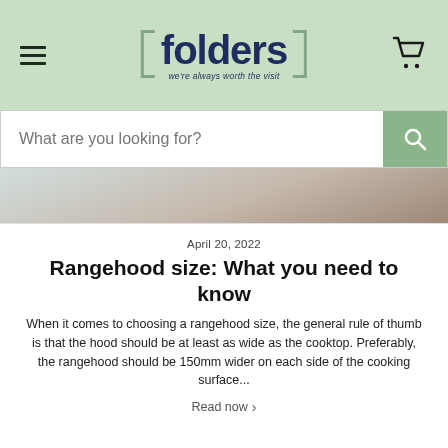folders — we're always worth the visit
What are you looking for?
[Figure (photo): Close-up photo of a person wearing a white shirt, partial view of arm and body]
April 20, 2022
Rangehood size: What you need to know
When it comes to choosing a rangehood size, the general rule of thumb is that the hood should be at least as wide as the cooktop. Preferably, the rangehood should be 150mm wider on each side of the cooking surface...
Read now >